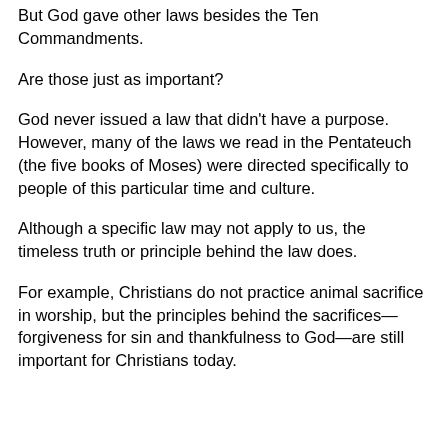But God gave other laws besides the Ten Commandments.
Are those just as important?
God never issued a law that didn't have a purpose. However, many of the laws we read in the Pentateuch (the five books of Moses) were directed specifically to people of this particular time and culture.
Although a specific law may not apply to us, the timeless truth or principle behind the law does.
For example, Christians do not practice animal sacrifice in worship, but the principles behind the sacrifices—forgiveness for sin and thankfulness to God—are still important for Christians today.